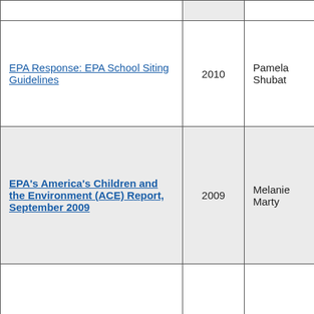| Document | Year | Contact |
| --- | --- | --- |
| EPA Response: EPA School Siting Guidelines | 2010 | Pamela Shubat |
| EPA's America's Children and the Environment (ACE) Report, September 2009 | 2009 | Melanie Marty |
| CHPAC Report: America's Children and the Environment (ACE) Report, Third Edition | 2009 | Melanie Marty |
| EPA Response: EPA's America's Children and ... |  |  |